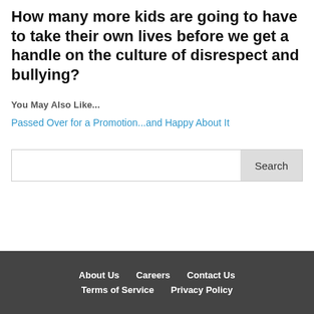How many more kids are going to have to take their own lives before we get a handle on the culture of disrespect and bullying?
You May Also Like...
Passed Over for a Promotion...and Happy About It
Search
About Us   Careers   Contact Us   Terms of Service   Privacy Policy